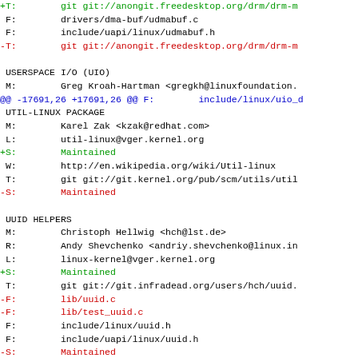+T:    git git://anongit.freedesktop.org/drm/drm-m
F:    drivers/dma-buf/udmabuf.c
F:    include/uapi/linux/udmabuf.h
-T:    git git://anongit.freedesktop.org/drm/drm-m
USERSPACE I/O (UIO)
 M:    Greg Kroah-Hartman <gregkh@linuxfoundation.
@@ -17691,26 +17691,26 @@ F:    include/linux/uio_d
 UTIL-LINUX PACKAGE
 M:    Karel Zak <kzak@redhat.com>
 L:    util-linux@vger.kernel.org
+S:    Maintained
 W:    http://en.wikipedia.org/wiki/Util-linux
 T:    git git://git.kernel.org/pub/scm/utils/util
-S:    Maintained
UUID HELPERS
 M:    Christoph Hellwig <hch@lst.de>
 R:    Andy Shevchenko <andriy.shevchenko@linux.in
 L:    linux-kernel@vger.kernel.org
+S:    Maintained
 T:    git git://git.infradead.org/users/hch/uuid.
-F:    lib/uuid.c
-F:    lib/test_uuid.c
 F:    include/linux/uuid.h
 F:    include/uapi/linux/uuid.h
-S:    Maintained
+F:    lib/test_uuid.c
+F:    lib/uuid.c